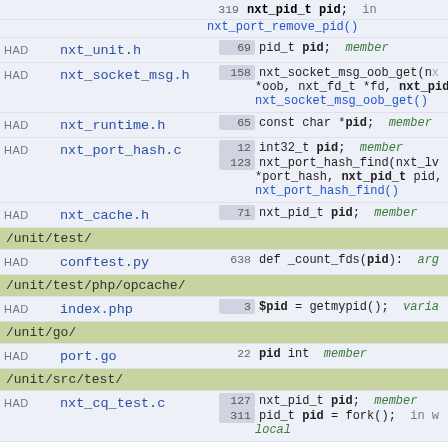| Tag | File | Code |
| --- | --- | --- |
|  |  | 319  nxt_pid_t pid;  in nxt_port_remove_pid() |
| HAD | nxt_unit.h | 69  pid_t pid;  member |
| HAD | nxt_socket_msg.h | 158  nxt_socket_msg_oob_get(n... *oob, nxt_fd_t *fd, nxt_pid_t *... nxt_socket_msg_oob_get() |
| HAD | nxt_runtime.h | 65  const char *pid;  member |
| HAD | nxt_port_hash.c | 12  int32_t pid;  member
123  nxt_port_hash_find(nxt_lv... *port_hash, nxt_pid_t pid,  in
nxt_port_hash_find() |
| HAD | nxt_cache.h | 71  nxt_pid_t pid;  member |
| /unit/test/ |  |  |
| HAD | conftest.py | 638  def _count_fds(pid):  arg |
| /unit/test/php/opcache/ |  |  |
| HAD | index.php | 3  $pid = getmypid();  varia |
| /unit/go/ |  |  |
| HAD | port.go | 22  pid int  member |
| /unit/src/test/ |  |  |
| HAD | nxt_cq_test.c | 127  nxt_pid_t pid;  member
311  pid_t pid = fork();  in w
local |